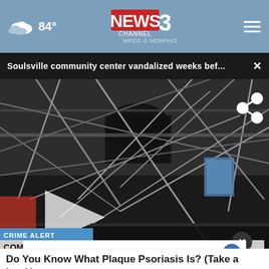84° News Channel 3 WREG Memphis
Soulsville community center vandalized weeks bef... ×
[Figure (screenshot): News video still showing interior of vandalized community center with collapsed ceiling metal framework and debris. Overlay text: CRIME ALERT / COMMUNITY CENTER VANDALIZED WEEKS BEFORE SCHEDULED OPENING]
[Figure (screenshot): Advertisement banner showing McAl logo with Dine-in and Curbside pickup options with navigation arrow icon. Close button overlay (X).]
Do You Know What Plaque Psoriasis Is? (Take a Look)